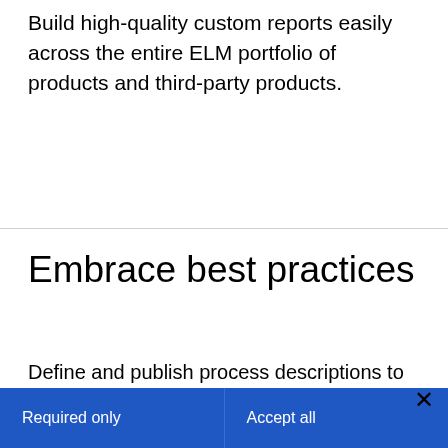Build high-quality custom reports easily across the entire ELM portfolio of products and third-party products.
Embrace best practices
Define and publish process descriptions to integrated
About cookies on this site
Our websites require some cookies to function properly (required). In addition, other cookies may be used with your consent to analyze site usage, improve the user experience and for advertising.

For more information, please review your Cookie preferences options and IBM's privacy statement.
Required only
Accept all